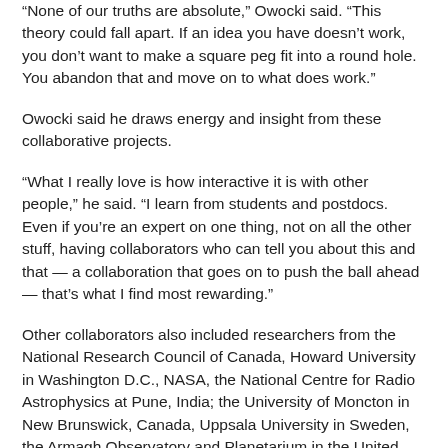“None of our truths are absolute,” Owocki said. “This theory could fall apart. If an idea you have doesn’t work, you don’t want to make a square peg fit into a round hole. You abandon that and move on to what does work.”
Owocki said he draws energy and insight from these collaborative projects.
“What I really love is how interactive it is with other people,” he said. “I learn from students and postdocs. Even if you’re an expert on one thing, not on all the other stuff, having collaborators who can tell you about this and that — a collaboration that goes on to push the ball ahead — that’s what I find most rewarding.”
Other collaborators also included researchers from the National Research Council of Canada, Howard University in Washington D.C., NASA, the National Centre for Radio Astrophysics at Pune, India; the University of Moncton in New Brunswick, Canada, Uppsala University in Sweden, the Armagh Observatory and Planetarium in the United Kingdom, the University of Western Ontario, Canada; Paris Observatory in France; the European Organization for